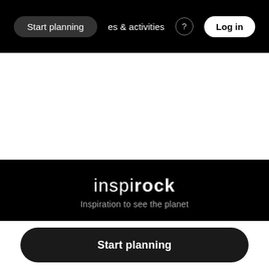Start planning | places & activities | Log in
[Figure (screenshot): White area below navigation bar, part of a travel website UI]
inspirock
Inspiration to see the planet
Company   Browse   Help
Start planning